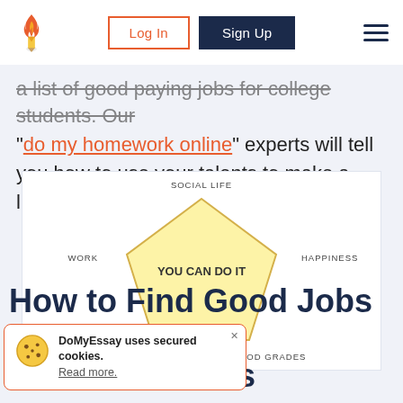Logo | Log In | Sign Up
a list of good paying jobs for college students. Our "do my homework online" experts will tell you how to use your talents to make a living.
[Figure (infographic): Pentagon diagram with 'YOU CAN DO IT' in center, labeled at five vertices: SOCIAL LIFE (top), HAPPINESS (right), GOOD GRADES (bottom-right), GOOD HEALTH (bottom-left), WORK (left). Yellow/cream fill on white background.]
How to Find Good Jobs for Students